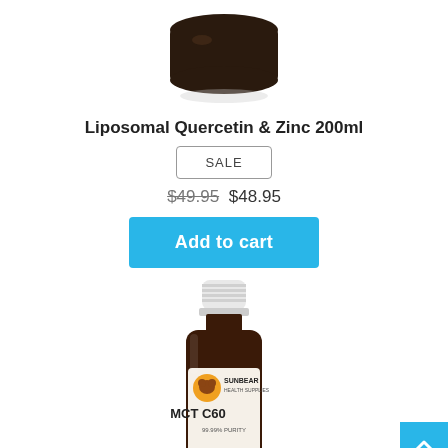[Figure (photo): Top portion of a dark brown glass jar product (bottom part cropped), with a dark lid visible against white background.]
Liposomal Quercetin & Zinc 200ml
SALE
$49.95 $48.95
Add to cart
[Figure (photo): Sunbear Health Supplies MCT C60 product bottle with white dropper cap, dark amber glass bottle, and label showing bear logo, brand name SUNBEAR HEALTH SUPPLIES, and product name MCT C60 with 99.99% PURITY text visible.]